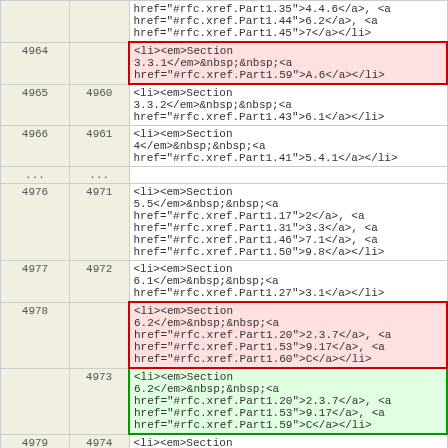|  |  | content |
| --- | --- | --- |
|  |  | href="#rfc.xref.Part1.35">4.4.6</a>, <a href="#rfc.xref.Part1.44">6.2</a>, <a href="#rfc.xref.Part1.45">7</a></li> |
| 4964 |  | <li><em>Section 3.3.1</em>&nbsp;&nbsp;<a href="#rfc.xref.Part1.59">A.6</a></li> |
| 4965 | 4960 | <li><em>Section 3.3.2</em>&nbsp;&nbsp;<a href="#rfc.xref.Part1.43">6.1</a></li> |
| 4966 | 4961 | <li><em>Section 4</em>&nbsp;&nbsp;<a href="#rfc.xref.Part1.41">5.4.1</a></li> |
| ... | ... |  |
| 4976 | 4971 | <li><em>Section 5.5</em>&nbsp;&nbsp;<a href="#rfc.xref.Part1.17">2</a>, <a href="#rfc.xref.Part1.31">3.3</a>, <a href="#rfc.xref.Part1.46">7.1</a>, <a href="#rfc.xref.Part1.50">9.8</a></li> |
| 4977 | 4972 | <li><em>Section 6.1</em>&nbsp;&nbsp;<a href="#rfc.xref.Part1.27">3.1</a></li> |
| 4978 |  | <li><em>Section 6.2</em>&nbsp;&nbsp;<a href="#rfc.xref.Part1.20">2.3.7</a>, <a href="#rfc.xref.Part1.53">9.17</a>, <a href="#rfc.xref.Part1.60">C</a></li> |
|  | 4973 | <li><em>Section 6.2</em>&nbsp;&nbsp;<a href="#rfc.xref.Part1.20">2.3.7</a>, <a href="#rfc.xref.Part1.53">9.17</a>, <a href="#rfc.xref.Part1.59">C</a></li> |
| 4979 | 4974 | <li><em>Section 6.4.3</em>&nbsp;&nbsp;<a href="#rfc.xref.Part1.32">4.3.1</a>, <a href="#rfc.xref.Part1.51">9.11</a></li> |